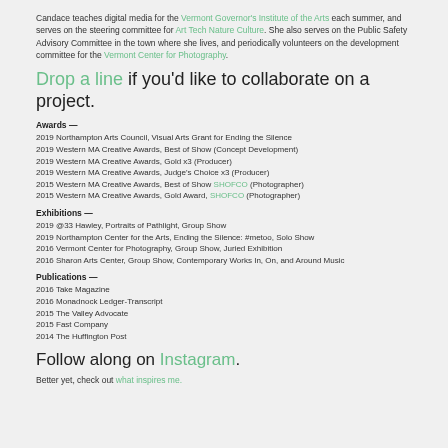Candace teaches digital media for the Vermont Governor's Institute of the Arts each summer, and serves on the steering committee for Art Tech Nature Culture. She also serves on the Public Safety Advisory Committee in the town where she lives, and periodically volunteers on the development committee for the Vermont Center for Photography.
Drop a line if you'd like to collaborate on a project.
Awards —
2019 Northampton Arts Council, Visual Arts Grant for Ending the Silence
2019 Western MA Creative Awards, Best of Show (Concept Development)
2019 Western MA Creative Awards, Gold x3 (Producer)
2019 Western MA Creative Awards, Judge's Choice x3 (Producer)
2015 Western MA Creative Awards, Best of Show SHOFCO (Photographer)
2015 Western MA Creative Awards, Gold Award, SHOFCO (Photographer)
Exhibitions —
2019 @33 Hawley, Portraits of Pathlight, Group Show
2019 Northampton Center for the Arts, Ending the Silence: #metoo, Solo Show
2016 Vermont Center for Photography, Group Show, Juried Exhibition
2016 Sharon Arts Center, Group Show, Contemporary Works In, On, and Around Music
Publications —
2016 Take Magazine
2016 Monadnock Ledger-Transcript
2015 The Valley Advocate
2015 Fast Company
2014 The Huffington Post
Follow along on Instagram.
Better yet, check out what inspires me.